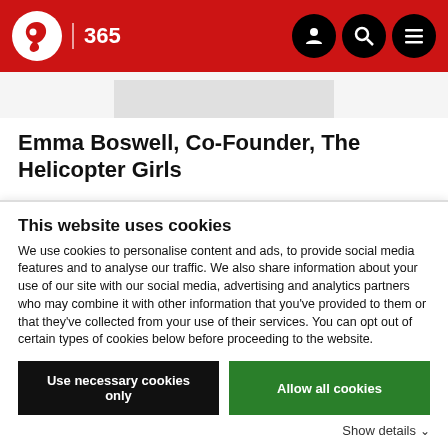IBC 365
[Figure (other): Gray image placeholder banner]
Emma Boswell, Co-Founder, The Helicopter Girls
Drone aerial services provider The Helicopter Girls was conceived in 2010 after freelance producer Boswell and
This website uses cookies
We use cookies to personalise content and ads, to provide social media features and to analyse our traffic. We also share information about your use of our site with our social media, advertising and analytics partners who may combine it with other information that you've provided to them or that they've collected from your use of their services. You can opt out of certain types of cookies below before proceeding to the website.
Use necessary cookies only | Allow all cookies
Show details